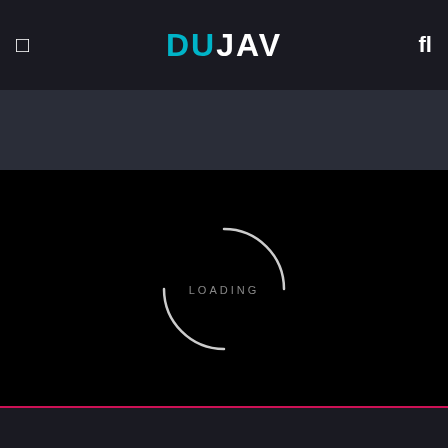DUJAV
[Figure (screenshot): Loading screen of DUJAV application with a spinner animation and LOADING text on black background]